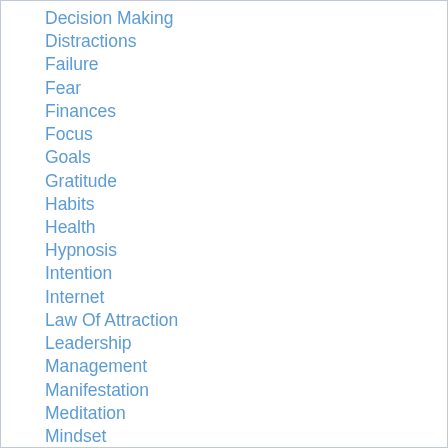Decision Making
Distractions
Failure
Fear
Finances
Focus
Goals
Gratitude
Habits
Health
Hypnosis
Intention
Internet
Law Of Attraction
Leadership
Management
Manifestation
Meditation
Mindset
Money Management
Negotiation
Nonprofits/Procrastination